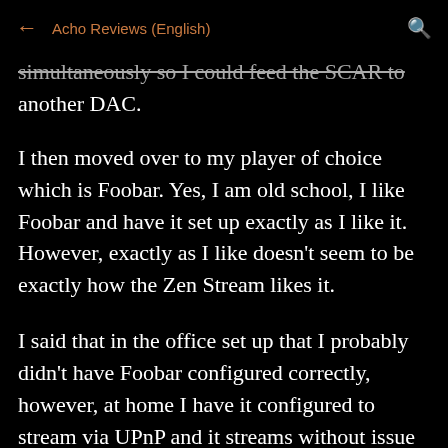← Acho Reviews (English)
simultaneously so I could feed the SCAR to another DAC.
I then moved over to my player of choice which is Foobar. Yes, I am old school, I like Foobar and have it set up exactly as I like it. However, exactly as I like doesn't seem to be exactly how the Zen Stream likes it.
I said that in the office set up that I probably didn't have Foobar configured correctly, however, at home I have it configured to stream via UPnP and it streams without issue to the Pi set up. The